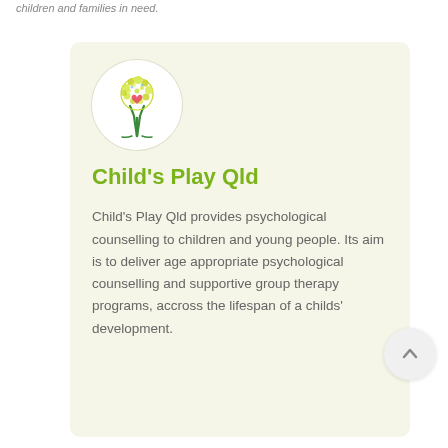children and families in need.
[Figure (logo): Child's Play Qld logo — a stylized tree with yellow curly foliage, red heart shape and green trunk, inside a white circle]
Child's Play Qld
Child's Play Qld provides psychological counselling to children and young people. Its aim is to deliver age appropriate psychological counselling and supportive group therapy programs, accross the lifespan of a childs' development.